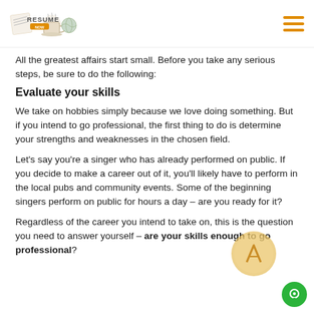Resume Now (logo)
All the greatest affairs start small. Before you take any serious steps, be sure to do the following:
Evaluate your skills
We take on hobbies simply because we love doing something. But if you intend to go professional, the first thing to do is determine your strengths and weaknesses in the chosen field.
Let's say you're a singer who has already performed on public. If you decide to make a career out of it, you'll likely have to perform in the local pubs and community events. Some of the beginning singers perform on public for hours a day – are you ready for it?
Regardless of the career you intend to take on, this is the question you need to answer yourself – are your skills enough to go professional?